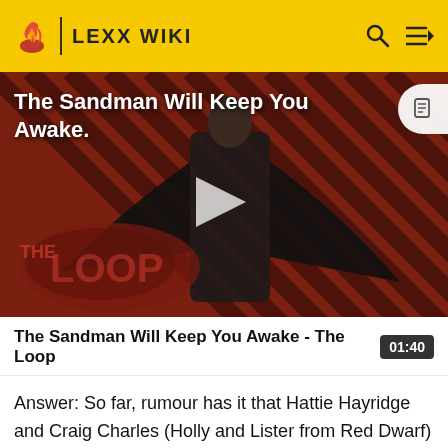LEXX WIKI
[Figure (screenshot): Video thumbnail for 'The Sandman Will Keep You Awake - The Loop' showing a figure in black cape against a red-and-black striped background with THE LOOP logo, and a play button overlay.]
The Sandman Will Keep You Awake - The Loop  01:40
Answer: So far, rumour has it that Hattie Hayridge and Craig Charles (Holly and Lister from Red Dwarf) will be appearing in an episode as prison guards in Texas. Also,